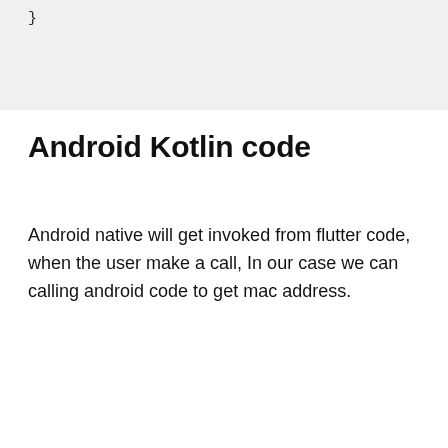}
Android Kotlin code
Android native will get invoked from flutter code, when the user make a call, In our case we can calling android code to get mac address.